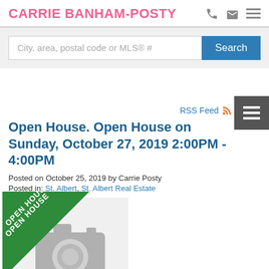CARRIE BANHAM-POSTY
City, area, postal code or MLS® #
Search
RSS Feed
Open House. Open House on Sunday, October 27, 2019 2:00PM - 4:00PM
Posted on October 25, 2019 by Carrie Posty
Posted in: St. Albert, St. Albert Real Estate
[Figure (photo): Open House placeholder image with camera icon and green diagonal ribbon banner reading OPEN HOUSE]